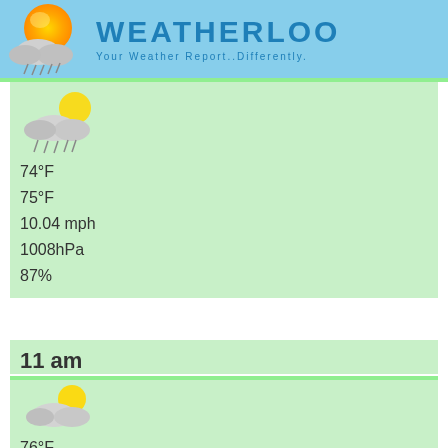WEATHERLOO - Your Weather Report..Differently.
[Figure (illustration): Weather icon: cloudy/rainy with sun partly visible]
74°F
75°F
10.04 mph
1008hPa
87%
11 am
[Figure (illustration): Weather icon: partly sunny with clouds]
76°F
77°F
10.87 mph
1009hPa
77%